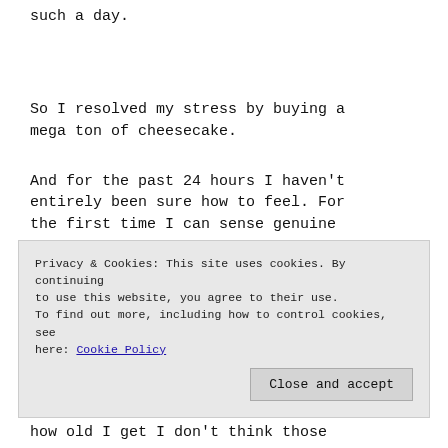such a day.
So I resolved my stress by buying a mega ton of cheesecake.
And for the past 24 hours I haven't entirely been sure how to feel. For the first time I can sense genuine
Privacy & Cookies: This site uses cookies. By continuing to use this website, you agree to their use. To find out more, including how to control cookies, see here: Cookie Policy
how old I get I don't think those